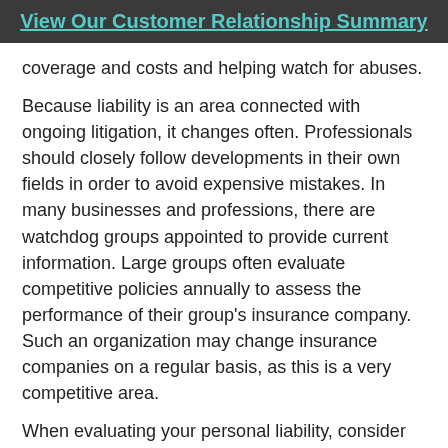View Our Customer Relationship Summary
coverage and costs and helping watch for abuses.
Because liability is an area connected with ongoing litigation, it changes often. Professionals should closely follow developments in their own fields in order to avoid expensive mistakes. In many businesses and professions, there are watchdog groups appointed to provide current information. Large groups often evaluate competitive policies annually to assess the performance of their group’s insurance company. Such an organization may change insurance companies on a regular basis, as this is a very competitive area.
When evaluating your personal liability, consider the following:
Everyone in your household should be covered, including those who don’t live at home.
Your policy should cover physical injuries, libel, slander, invasion of privacy, malicious